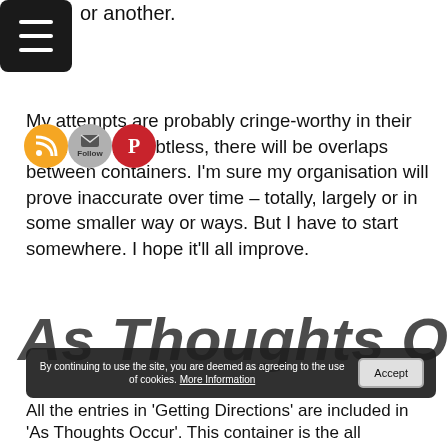[Figure (other): Hamburger menu icon (three horizontal white lines on black rounded rectangle background), top-left corner]
or another.
[Figure (other): Three social sharing icons: orange RSS feed circle, grey Follow/email circle, red Pinterest circle]
My attempts are probably cringe-worthy in their woolliness. Doubtless, there will be overlaps between containers. I'm sure my organisation will prove inaccurate over time – totally, largely or in some smaller way or ways. But I have to start somewhere. I hope it'll all improve.
As Thoughts Occur (large italic heading, partially visible behind cookie bar)
By continuing to use the site, you are deemed as agreeing to the use of cookies. More Information
Accept
All the entries in 'Getting Directions' are included in
'As Thoughts Occur'. This container is the all